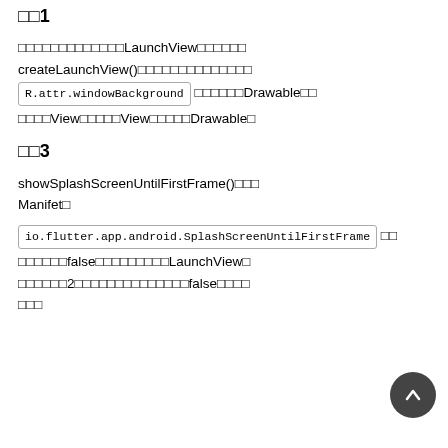手順1
まず最初に確認するのは、LaunchViewの作成と、createLaunchView()の実装の確認と、R.attr.windowBackground からのDrawableの取得、そしてViewの追加、ViewへのDrawableの適用です。
手順3
showSplashScreenUntilFirstFrame()の確認とManifetの確認。
io.flutter.app.android.SplashScreenUntilFirstFrame の設定がfalseになっていないかとLaunchViewの確認、ステップ2の場合はこちら側でfalseになっていないか確認。